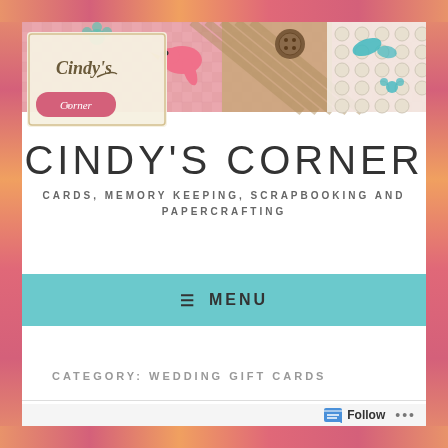[Figure (illustration): Cindy's Corner blog banner with pink gingham pattern, decorative bird, button, flowers, and butterfly motifs. Logo shows 'Cindy's Corner' cursive text on a tag.]
CINDY'S CORNER
CARDS, MEMORY KEEPING, SCRAPBOOKING AND PAPERCRAFTING
≡  MENU
CATEGORY: WEDDING GIFT CARDS